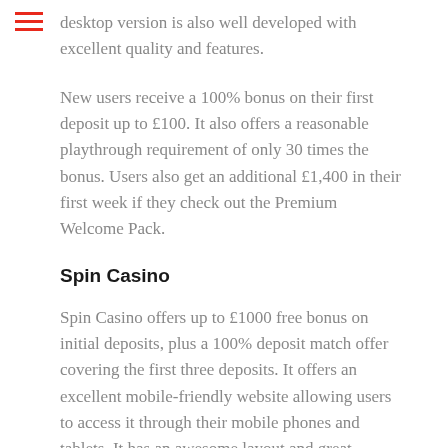desktop version is also well developed with excellent quality and features.
New users receive a 100% bonus on their first deposit up to £100. It also offers a reasonable playthrough requirement of only 30 times the bonus. Users also get an additional £1,400 in their first week if they check out the Premium Welcome Pack.
Spin Casino
Spin Casino offers up to £1000 free bonus on initial deposits, plus a 100% deposit match offer covering the first three deposits. It offers an excellent mobile-friendly website allowing users to access it through their mobile phones and tablets. It has an awesome layout and great